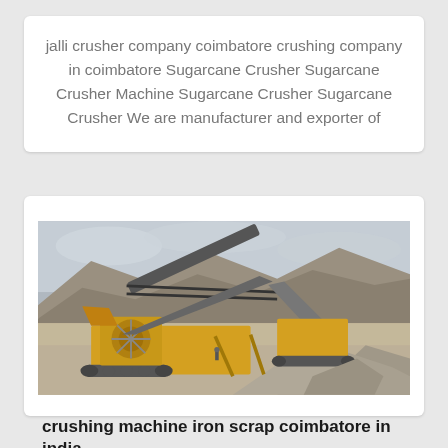jalli crusher company coimbatore crushing company in coimbatore Sugarcane Crusher Sugarcane Crusher Machine Sugarcane Crusher Sugarcane Crusher We are manufacturer and exporter of
[Figure (photo): A large yellow mobile crushing machine / industrial crusher plant set in a rocky, arid landscape with mountains in the background. The machine has conveyor belts and is surrounded by gravel/crushed stone piles.]
crushing machine iron scrap coimbatore in india